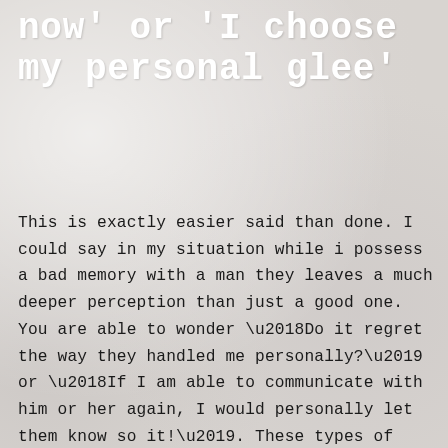now' or 'I choose my personal glee'
This is exactly easier said than done. I could say in my situation while i possess a bad memory with a man they leaves a much deeper perception than just a good one. You are able to wonder ‘Do it regret the way they handled me personally?’ or ‘If I am able to communicate with him or her again, I would personally let them know so it!’. These types of hypotheticals stifle their healing up process, additionally the additional time your invest in curious about it individual having hurt you, the less time you dedicate to recuperation yourself.